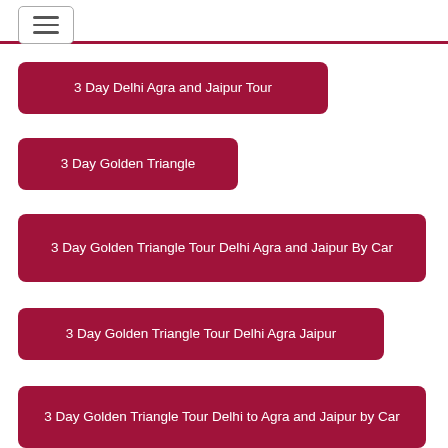3 Day Delhi Agra and Jaipur Tour
3 Day Golden Triangle
3 Day Golden Triangle Tour Delhi Agra and Jaipur By Car
3 Day Golden Triangle Tour Delhi Agra Jaipur
3 Day Golden Triangle Tour Delhi to Agra and Jaipur by Car